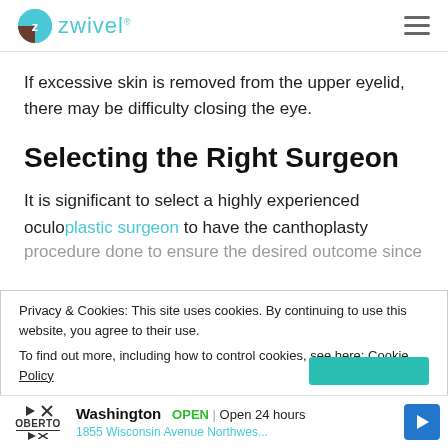zwivel
If excessive skin is removed from the upper eyelid, there may be difficulty closing the eye.
Selecting the Right Surgeon
It is significant to select a highly experienced oculoplastic surgeon to have the canthoplasty procedure done to ensure the desired outcome since
Privacy & Cookies: This site uses cookies. By continuing to use this website, you agree to their use.
To find out more, including how to control cookies, see here: Cookie Policy
Washington  OPEN | Open 24 hours  1855 Wisconsin Avenue Northwes...